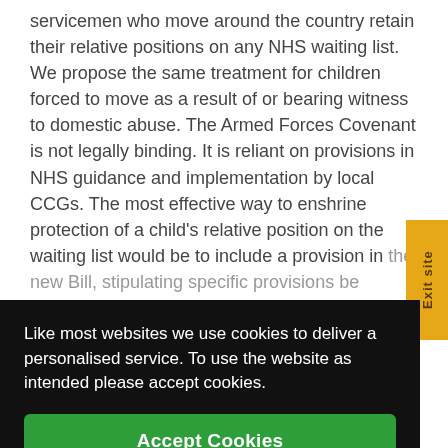servicemen who move around the country retain their relative positions on any NHS waiting list. We propose the same treatment for children forced to move as a result of or bearing witness to domestic abuse. The Armed Forces Covenant is not legally binding. It is reliant on provisions in NHS guidance and implementation by local CCGs. The most effective way to enshrine protection of a child's relative position on the waiting list would be to include a provision in the new Bill, stipulating specific provisions be
Like most websites we use cookies to deliver a personalised service. To use the website as intended please accept cookies.
s of
ool places for 'looked after children'. This should be